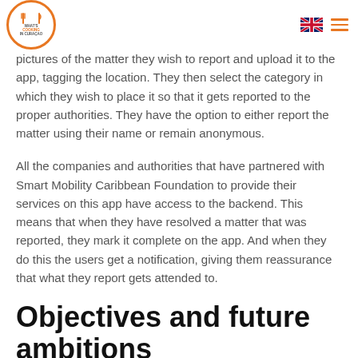What's Cooking in Curaçao logo, UK flag, hamburger menu
pictures of the matter they wish to report and upload it to the app, tagging the location. They then select the category in which they wish to place it so that it gets reported to the proper authorities. They have the option to either report the matter using their name or remain anonymous.
All the companies and authorities that have partnered with Smart Mobility Caribbean Foundation to provide their services on this app have access to the backend. This means that when they have resolved a matter that was reported, they mark it complete on the app. And when they do this the users get a notification, giving them reassurance that what they report gets attended to.
Objectives and future ambitions
Aside from their primary goal of giving back to the Curaçaoan community, the entrepreneurs of Smart Mobility Caribbean Foundation also look to give a boost to the phenomena of